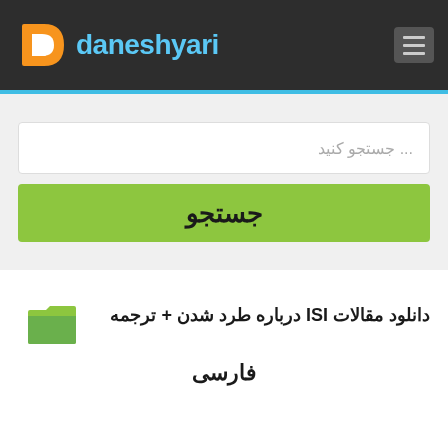[Figure (logo): Daneshyari logo with orange/white D icon and teal brand name text on dark background header with hamburger menu]
جستجو کنید ...
جستجو
دانلود مقالات ISI درباره طرد شدن + ترجمه فارسی